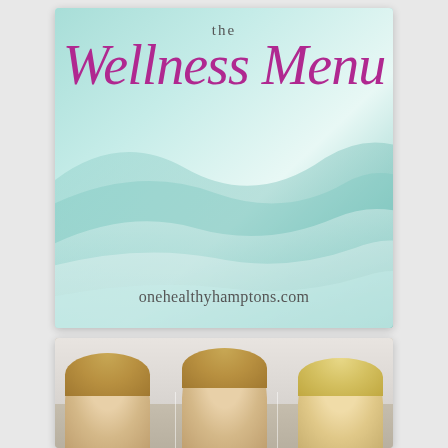[Figure (illustration): The Wellness Menu branded card with teal/mint wave background gradient, text 'the Wellness Menu' in purple italic script, and website URL onehealthyhamptons.com]
[Figure (photo): Three women photographed from the shoulders up, all with blonde hair, posed side by side against a light background]